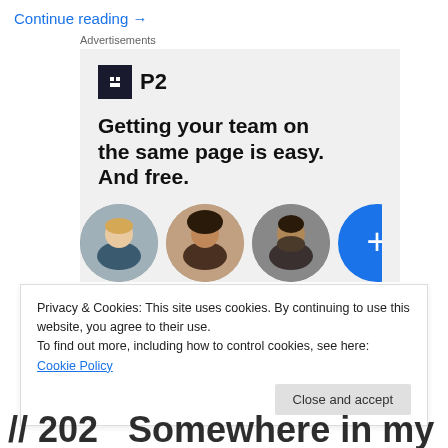Continue reading →
Advertisements
[Figure (infographic): P2 advertisement banner with logo, headline 'Getting your team on the same page is easy. And free.' and three circular profile photo avatars plus a blue plus-circle button]
Privacy & Cookies: This site uses cookies. By continuing to use this website, you agree to their use.
To find out more, including how to control cookies, see here: Cookie Policy
Close and accept
// 202  Somewhere in my